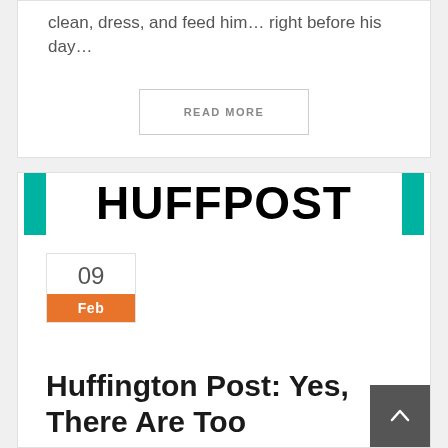clean, dress, and feed him... right before his day...
READ MORE
[Figure (logo): HuffPost logo with teal accent bars on left and right]
09 Feb
Huffington Post: Yes, There Are Too